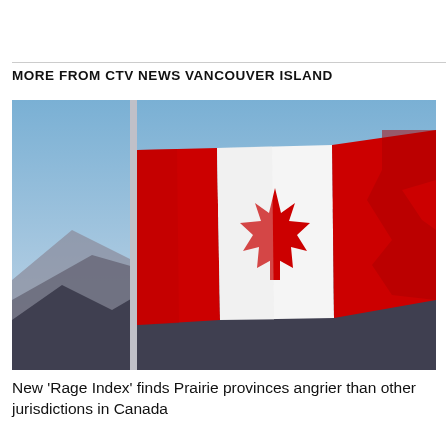MORE FROM CTV NEWS VANCOUVER ISLAND
[Figure (photo): A Canadian flag waving in the wind against a blue sky with snow-capped mountains in the background. A flag pole is visible on the left side. The flag shows the red maple leaf on white centre panel flanked by red panels.]
New 'Rage Index' finds Prairie provinces angrier than other jurisdictions in Canada